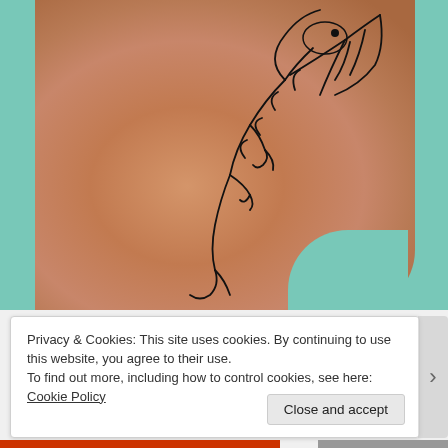[Figure (photo): Close-up photograph of human skin (ankle/foot area) with a black outline tattoo of what appears to be a dragon or bird figure. The skin shows a warm tan/peach tone. Teal/cyan fabric or surface is visible in the background on the left and right sides.]
Privacy & Cookies: This site uses cookies. By continuing to use this website, you agree to their use.
To find out more, including how to control cookies, see here: Cookie Policy
Close and accept